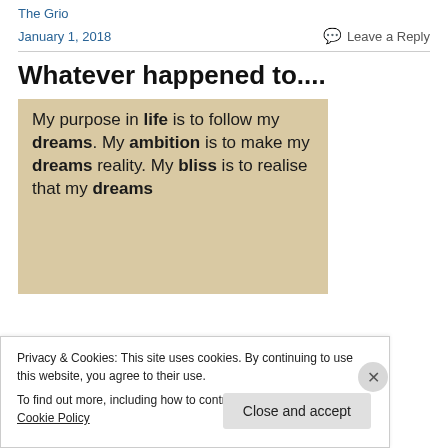The Grio
January 1, 2018
Leave a Reply
Whatever happened to....
[Figure (photo): Parchment-colored image with text: 'My purpose in life is to follow my dreams. My ambition is to make my dreams reality. My bliss is to realise that my dreams...' with bold words: life, dreams, ambition, dreams, bliss, dreams]
Privacy & Cookies: This site uses cookies. By continuing to use this website, you agree to their use.
To find out more, including how to control cookies, see here: Cookie Policy
Close and accept